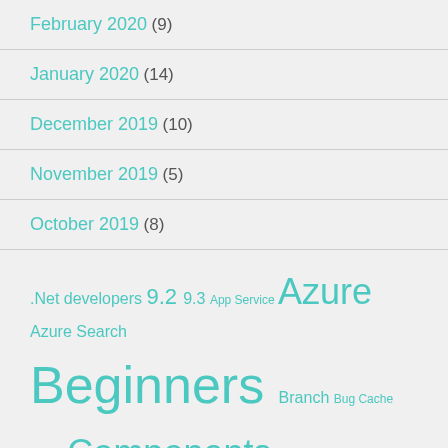February 2020 (9)
January 2020 (14)
December 2019 (10)
November 2019 (5)
October 2019 (8)
.Net developers 9.2 9.3 App Service Azure Azure Search Beginners Branch Bug Cache Clould Components Configuration Content Editor Customization Databases datasources Domain Names Dummy Website editing EXM